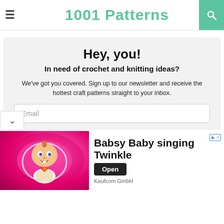1001 Patterns
Hey, you!
In need of crochet and knitting ideas?
We've got you covered. Sign up to our newsletter and receive the hottest craft patterns straight to your inbox.
Email
[Figure (illustration): Advertisement banner featuring Babsy Baby singing Twinkle cartoon image with pink background, Open button, and Kaufcom GmbH label]